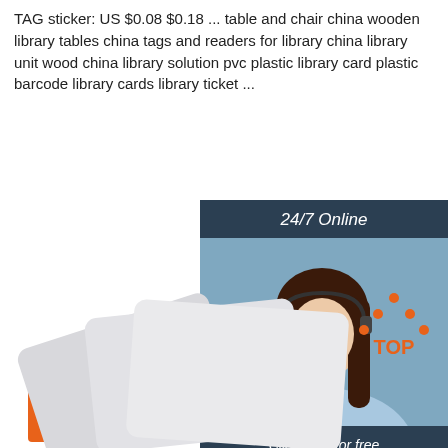TAG sticker: US $0.08 $0.18 ... table and chair china wooden library tables china tags and readers for library china library unit wood china library solution pvc plastic library card plastic barcode library cards library ticket ...
[Figure (other): Orange 'Get Price' button]
[Figure (other): 24/7 Online chat widget with a photo of a customer service representative wearing a headset, with 'Click here for free chat!' text and an orange QUOTATION button]
[Figure (other): TOP icon with orange dots forming an upward arrow above the word TOP in orange]
[Figure (other): Overlapping gray/white card shapes at the bottom of the page]